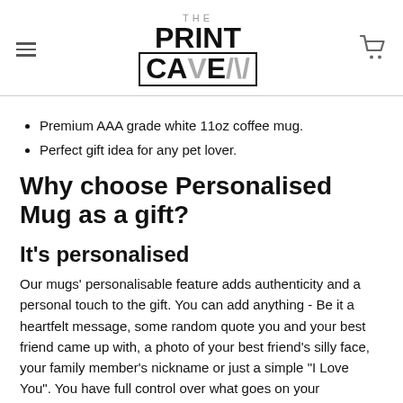THE PRINT CAVE
Premium AAA grade white 11oz coffee mug.
Perfect gift idea for any pet lover.
Why choose Personalised Mug as a gift?
It's personalised
Our mugs' personalisable feature adds authenticity and a personal touch to the gift. You can add anything - Be it a heartfelt message, some random quote you and your best friend came up with, a photo of your best friend's silly face, your family member's nickname or just a simple "I Love You". You have full control over what goes on your...